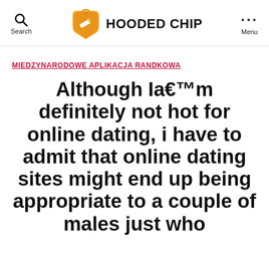Search | HOODED CHIP | Menu
MIEDZYNARODOWE APLIKACJA RANDKOWA
Although Ia€™m definitely not hot for online dating, i have to admit that online dating sites might end up being appropriate to a couple of males just who